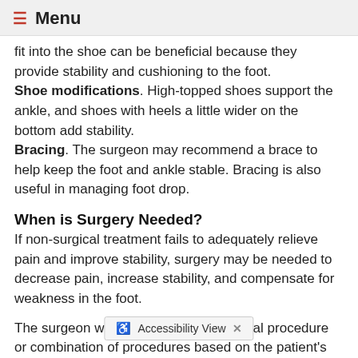≡ Menu
fit into the shoe can be beneficial because they provide stability and cushioning to the foot. Shoe modifications. High-topped shoes support the ankle, and shoes with heels a little wider on the bottom add stability. Bracing. The surgeon may recommend a brace to help keep the foot and ankle stable. Bracing is also useful in managing foot drop.
When is Surgery Needed?
If non-surgical treatment fails to adequately relieve pain and improve stability, surgery may be needed to decrease pain, increase stability, and compensate for weakness in the foot.
The surgeon will choose the best surgical procedure or combination of procedures based on the patient's indi… cases